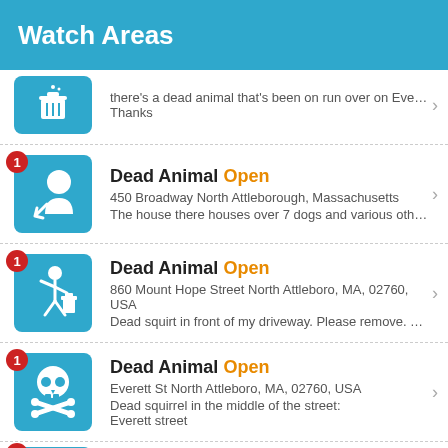Watch Areas
Dead Animal Open | there's a dead animal that's been on run over on Evere… Thanks
Dead Animal Open | 450 Broadway North Attleborough, Massachusetts | The house there houses over 7 dogs and various other…
Dead Animal Open | 860 Mount Hope Street North Attleboro, MA, 02760, USA | Dead squirt in front of my driveway. Please remove. Th…
Dead Animal Open | Everett St North Attleboro, MA, 02760, USA | Dead squirrel in the middle of the street: Everett street
Dead Animal Open